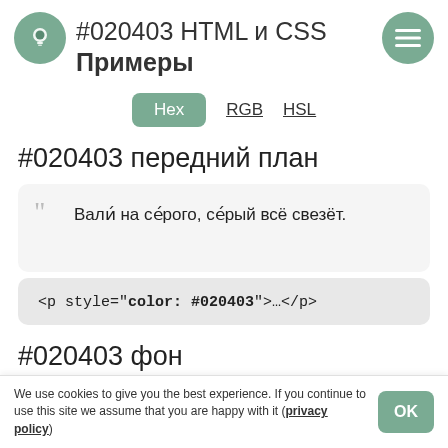#020403 HTML и CSS Примеры
Hex  RGB  HSL
#020403 передний план
Вали́ на се́рого, се́рый всё свезёт.
<p style="color: #020403">…</p>
#020403 фон
We use cookies to give you the best experience. If you continue to use this site we assume that you are happy with it (privacy policy)